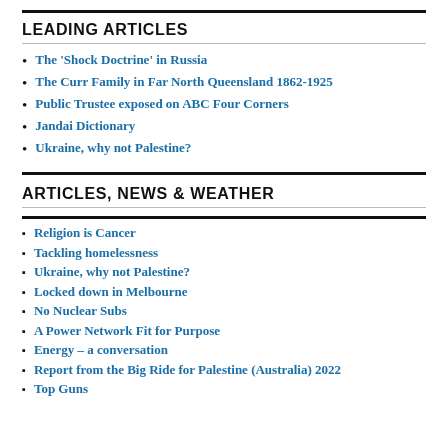LEADING ARTICLES
The 'Shock Doctrine' in Russia
The Curr Family in Far North Queensland 1862-1925
Public Trustee exposed on ABC Four Corners
Jandai Dictionary
Ukraine, why not Palestine?
ARTICLES, NEWS & WEATHER
Religion is Cancer
Tackling homelessness
Ukraine, why not Palestine?
Locked down in Melbourne
No Nuclear Subs
A Power Network Fit for Purpose
Energy – a conversation
Report from the Big Ride for Palestine (Australia) 2022
Top Guns